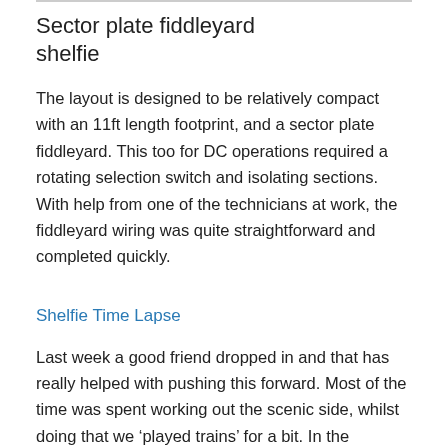Sector plate fiddleyard shelfie
The layout is designed to be relatively compact with an 11ft length footprint, and a sector plate fiddleyard. This too for DC operations required a rotating selection switch and isolating sections. With help from one of the technicians at work, the fiddleyard wiring was quite straightforward and completed quickly.
Shelfie Time Lapse
Last week a good friend dropped in and that has really helped with pushing this forward. Most of the time was spent working out the scenic side, whilst doing that we ‘played trains’ for a bit. In the youtube clip above the temporary wiring and switches worked well, but brought